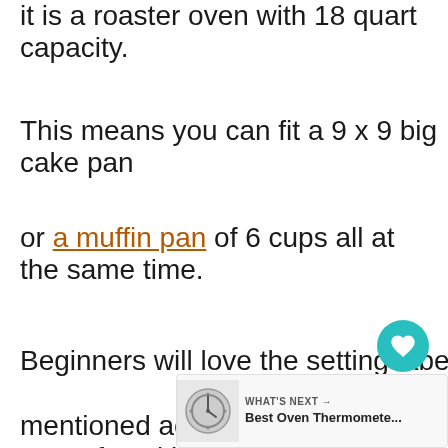it is a roaster oven with 18 quart capacity.
This means you can fit a 9 x 9 big cake pan
or a muffin pan of 6 cups all at the same time.
Beginners will love the setting label
mentioned according to the type of cooking
which ranges from steaming to slow cooking.